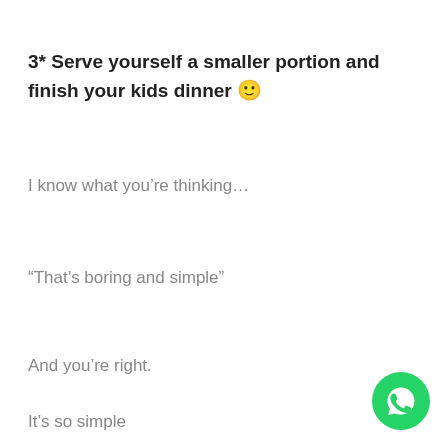3* Serve yourself a smaller portion and finish your kids dinner 🙂
I know what you're thinking…
“That’s boring and simple”
And you’re right.
It’s so simple
[Figure (logo): WhatsApp logo — green circle with white phone handset icon]